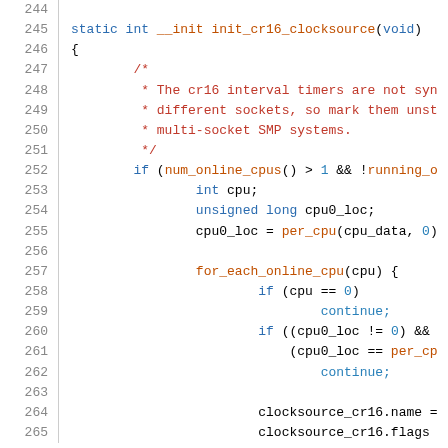[Figure (screenshot): Source code listing showing C function init_cr16_clocksource, lines 244-265, with syntax highlighting. Line numbers on left, code on right. Comments in red, keywords in blue, function names in orange.]